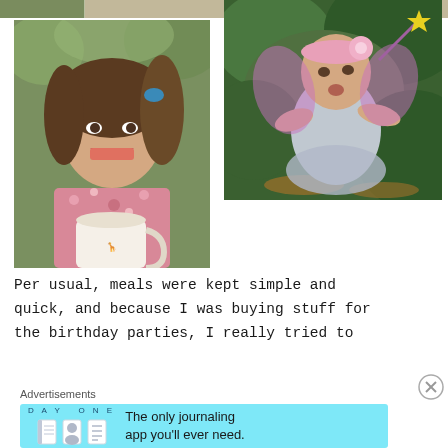[Figure (photo): Partial top strip showing top edge of a photo, brownish/green tones, cropped at very top of page]
[Figure (photo): Young girl with brown hair smiling widely, holding a white mug, wearing a floral shirt, outdoors with green bokeh background]
[Figure (photo): Baby/toddler dressed as a fairy in grey dress and pink flower headband with wings, surrounded by green leaves]
Per usual, meals were kept simple and quick, and because I was buying stuff for the birthday parties, I really tried to
Advertisements
[Figure (screenshot): Day One app advertisement banner on light blue background. Shows DAY ONE text, three app icons, and text: The only journaling app you'll ever need.]